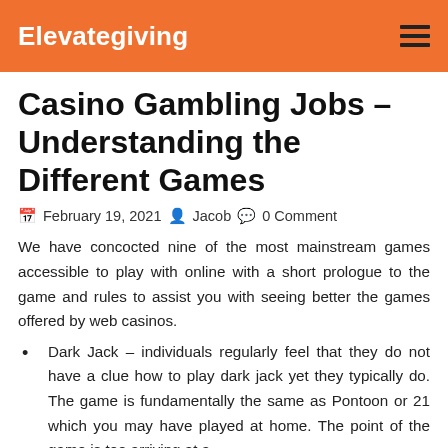Elevategiving
Casino Gambling Jobs – Understanding the Different Games
February 19, 2021  Jacob  0 Comment
We have concocted nine of the most mainstream games accessible to play with online with a short prologue to the game and rules to assist you with seeing better the games offered by web casinos.
Dark Jack – individuals regularly feel that they do not have a clue how to play dark jack yet they typically do. The game is fundamentally the same as Pontoon or 21 which you may have played at home. The point of the game is too arriving at a